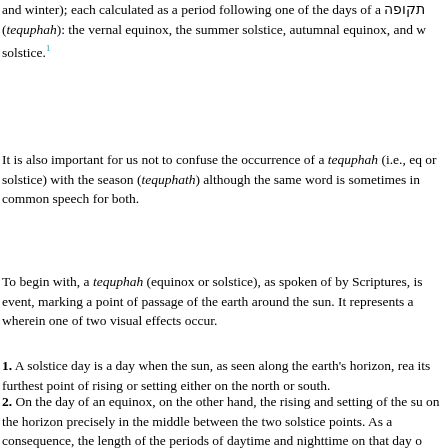and winter); each calculated as a period following one of the days of a תקופה (tequphah): the vernal equinox, the summer solstice, autumnal equinox, and winter solstice.[1]
It is also important for us not to confuse the occurrence of a tequphah (i.e., equinox or solstice) with the season (tequphath) although the same word is sometimes used in common speech for both.
To begin with, a tequphah (equinox or solstice), as spoken of by Scriptures, is an event, marking a point of passage of the earth around the sun. It represents a moment wherein one of two visual effects occur.
1. A solstice day is a day when the sun, as seen along the earth's horizon, reaches its furthest point of rising or setting either on the north or south.
2. On the day of an equinox, on the other hand, the rising and setting of the sun on the horizon precisely in the middle between the two solstice points. As a consequence, the length of the periods of daytime and nighttime on that day of equinox are almost exactly equivalent.